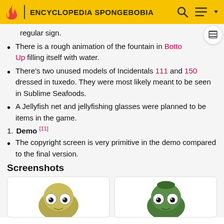ENCYCLOPEDIA SPONGEBOBIA
regular sign.
There is a rough animation of the fountain in Botto Up filling itself with water.
There's two unused models of Incidentals 111 and 150 dressed in tuxedo. They were most likely meant to be seen in Sublime Seafoods.
A Jellyfish net and jellyfishing glasses were planned to be items in the game.
Demo [11]
The copyright screen is very primitive in the demo compared to the final version.
Screenshots
[Figure (photo): Two screenshots side by side showing incidental characters from SpongeBob game — left shows a yellowish-olive fish character, right shows a green fish character.]